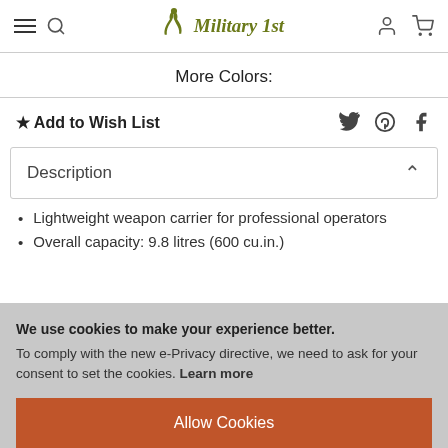Military 1st — navigation header with hamburger menu, search, logo, user icon, cart icon
More Colors:
★ Add to Wish List
Description
Lightweight weapon carrier for professional operators
Overall capacity: 9.8 litres (600 cu.in.)
We use cookies to make your experience better. To comply with the new e-Privacy directive, we need to ask for your consent to set the cookies. Learn more
Allow Cookies